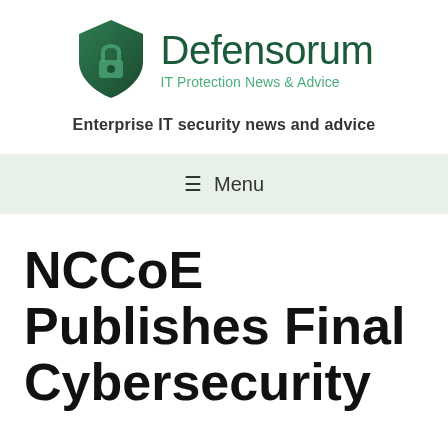[Figure (logo): Defensorum logo: green shield with padlock icon, next to text 'Defensorum' in dark green and 'IT Protection News & Advice' in light green]
Enterprise IT security news and advice
≡ Menu
NCCoE Publishes Final Cybersecurity